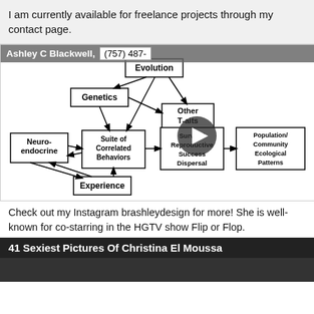I am currently available for freelance projects through my contact page.
[Figure (flowchart): Flowchart showing relationships between Evolution (top), Genetics, Neuro-endocrine, Experience, Suite of Correlated Behaviors, Other Traits, Survival Reproductive Success Dispersal, and Population/Community Ecological Patterns. Has a video play button overlay and a name/phone overlay bar.]
Check out my Instagram brashleydesign for more! She is well-known for co-starring in the HGTV show Flip or Flop.
41 Sexiest Pictures Of Christina El Moussa